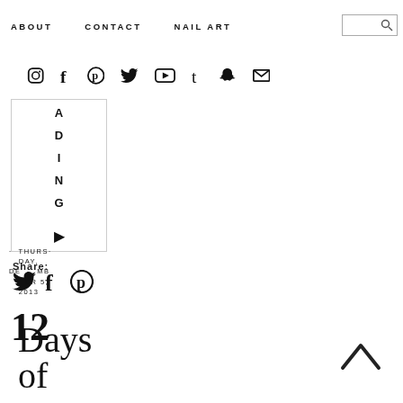ABOUT   CONTACT   NAIL ART
[Figure (other): Social media icons row: Instagram, Facebook, Pinterest, Twitter, YouTube, Tumblr, Snapchat, Email]
[Figure (other): Loading box with vertical text LOADING and play triangle icon]
Share:
[Figure (other): Share icons: Twitter bird, Facebook f, Pinterest p]
· THURSDAY, DECEMBER 5, 2013
12 Days of
[Figure (other): Up chevron arrow button]